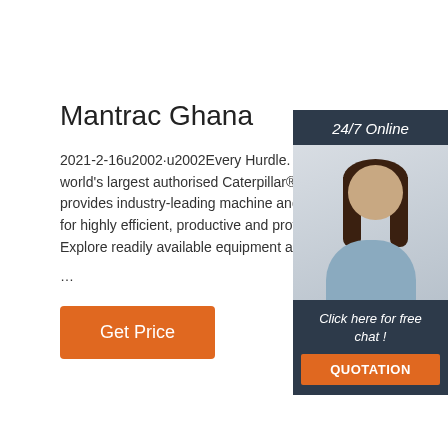Mantrac Ghana
2021-2-16u2002·u2002Every Hurdle. As one of the world's largest authorised Caterpillar® dealers, Mantrac provides industry-leading machine and power solutions for highly efficient, productive and profitable operations. Explore readily available equipment and power...
...
[Figure (infographic): 24/7 Online chat widget with photo of woman wearing headset and 'Click here for free chat!' text and QUOTATION button]
Get Price